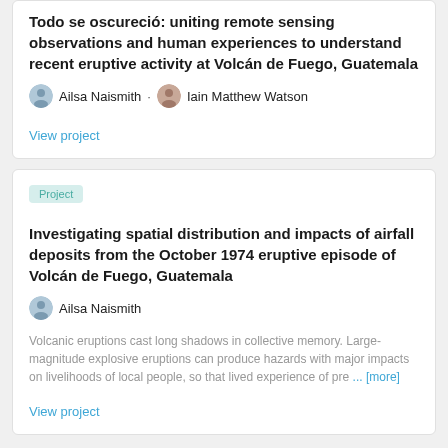Todo se oscureció: uniting remote sensing observations and human experiences to understand recent eruptive activity at Volcán de Fuego, Guatemala
Ailsa Naismith · Iain Matthew Watson
View project
Project
Investigating spatial distribution and impacts of airfall deposits from the October 1974 eruptive episode of Volcán de Fuego, Guatemala
Ailsa Naismith
Volcanic eruptions cast long shadows in collective memory. Large-magnitude explosive eruptions can produce hazards with major impacts on livelihoods of local people, so that lived experience of pre ... [more]
View project